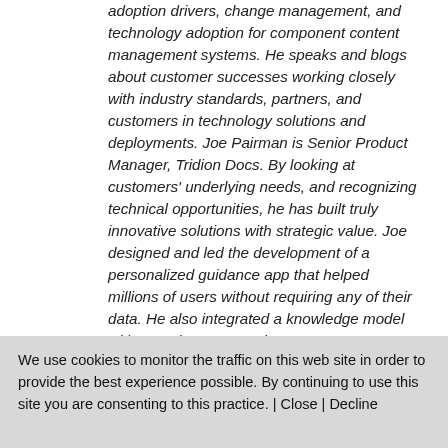adoption drivers, change management, and technology adoption for component content management systems. He speaks and blogs about customer successes working closely with industry standards, partners, and customers in technology solutions and deployments. Joe Pairman is Senior Product Manager, Tridion Docs. By looking at customers' underlying needs, and recognizing technical opportunities, he has built truly innovative solutions with strategic value. Joe designed and led the development of a personalized guidance app that helped millions of users without requiring any of their data. He also integrated a knowledge model with granular structured content to automatically give data integrators
We use cookies to monitor the traffic on this web site in order to provide the best experience possible. By continuing to use this site you are consenting to this practice. | Close | Decline